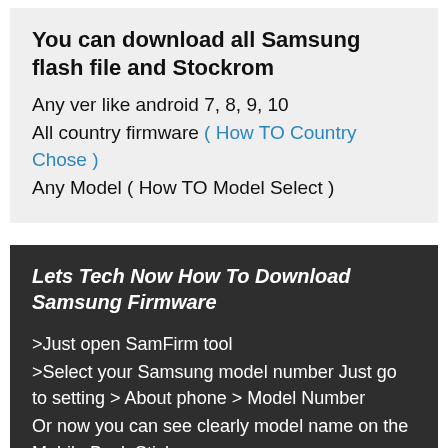You can download all Samsung flash file and Stockrom
Any ver like android 7, 8, 9, 10
All country firmware ( How TO Country Chose )
Any Model ( How TO Model Select )
Lets Tech Now How To Download Samsung Firmware
>Just open SamFirm tool
>Select your Samsung model number Just go to setting > About phone > Model Number
Or now you can see clearly model name on the Mobile Back Sticker